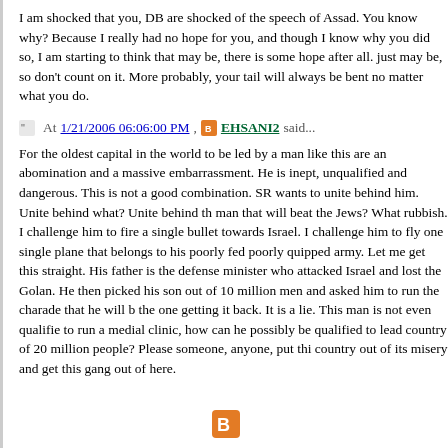I am shocked that you, DB are shocked of the speech of Assad. You know why? Because I really had no hope for you, and though I know why you did so, I am starting to think that may be, there is some hope after all. just may be, so don't count on it. More probably, your tail will always be bent no matter what you do.
At 1/21/2006 06:06:00 PM, EHSANI2 said...
For the oldest capital in the world to be led by a man like this are an abomination and a massive embarrassment. He is inept, unqualified and dangerous. This is not a good combination. SR wants to unite behind him. Unite behind what? Unite behind the man that will beat the Jews? What rubbish. I challenge him to fire a single bullet towards Israel. I challenge him to fly one single plane that belongs to his poorly fed poorly quipped army. Let me get this straight. His father is the defense minister who attacked Israel and lost the Golan. He then picked his son out of 10 million men and asked him to run the charade that he will be the one getting it back. It is a lie. This man is not even qualified to run a medial clinic, how can he possibly be qualified to lead a country of 20 million people? Please someone, anyone, put this country out of its misery and get this gang out of here.